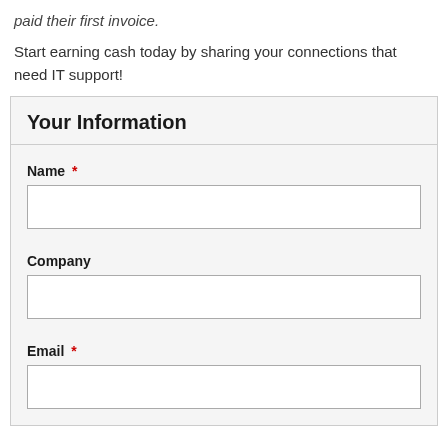paid their first invoice.
Start earning cash today by sharing your connections that need IT support!
Your Information
Name *
Company
Email *